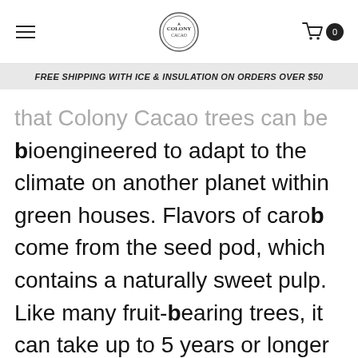[hamburger menu] [logo] [cart 0]
FREE SHIPPING WITH ICE & INSULATION ON ORDERS OVER $50
that Colony Cacao trees can be bioengineered to adapt to the climate on another planet within green houses. Flavors of carob come from the seed pod, which contains a naturally sweet pulp. Like many fruit-bearing trees, it can take up to 5 years or longer for a carob tree to become fully established and produce seed pods. Chocolate lovers and chocolate